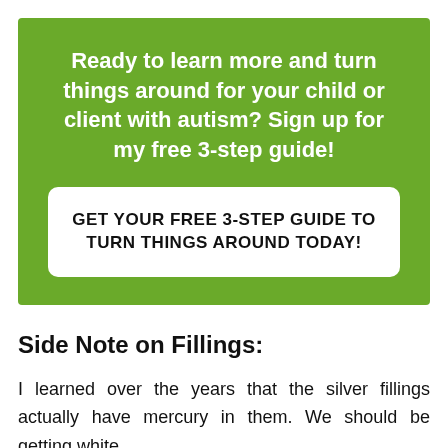Ready to learn more and turn things around for your child or client with autism? Sign up for my free 3-step guide!
GET YOUR FREE 3-STEP GUIDE TO TURN THINGS AROUND TODAY!
Side Note on Fillings:
I learned over the years that the silver fillings actually have mercury in them. We should be getting white